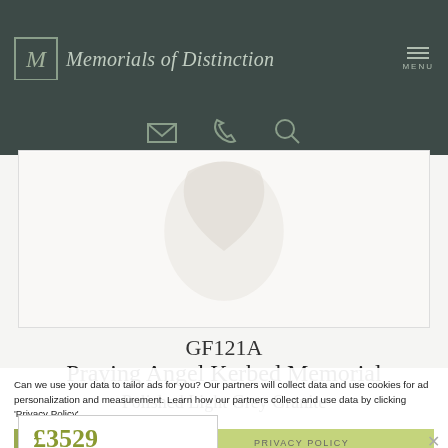Memorials of Distinction
[Figure (logo): Memorials of Distinction logo with M in a box and script text]
[Figure (illustration): Product image area showing partial memorial/angel figure, mostly white]
GF121A
Praying Angel Kerbed Memorial
Polished Light Grey Granite
Can we use your data to tailor ads for you? Our partners will collect data and use cookies for ad personalization and measurement. Learn how our partners collect and use data by clicking 'Privacy Policy'.
£3529
incl. VAT
Overall Height: 5'6"
NO
PRIVACY POLICY